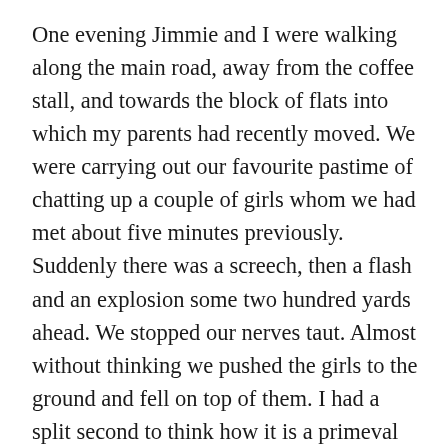One evening Jimmie and I were walking along the main road, away from the coffee stall, and towards the block of flats into which my parents had recently moved. We were carrying out our favourite pastime of chatting up a couple of girls whom we had met about five minutes previously. Suddenly there was a screech, then a flash and an explosion some two hundred yards ahead. We stopped our nerves taut. Almost without thinking we pushed the girls to the ground and fell on top of them. I had a split second to think how it is a primeval instinct to protect the female. Then almost immediately there was another flash behind the public house on the other side of the road, followed by an explosion that nearly deafened